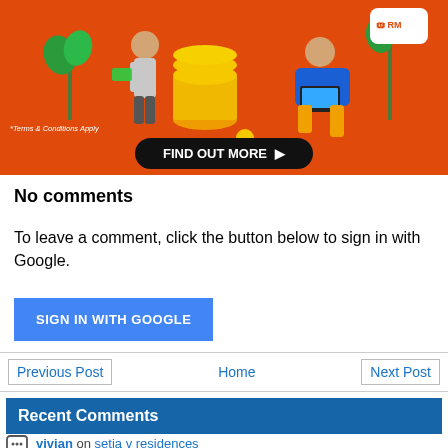[Figure (illustration): Promotional banner with orange background showing illustrated characters with coins and money, a laptop user, plant leaves, and a 'RM' reward icon. Text reads '*Terms & Conditions Apply' and a dark button says 'FIND OUT MORE ▶']
No comments
To leave a comment, click the button below to sign in with Google.
SIGN IN WITH GOOGLE
Previous Post    Home    Next Post
Recent Comments
vivian on setia v residences
Any owner want to let go their unit can please whatapps /